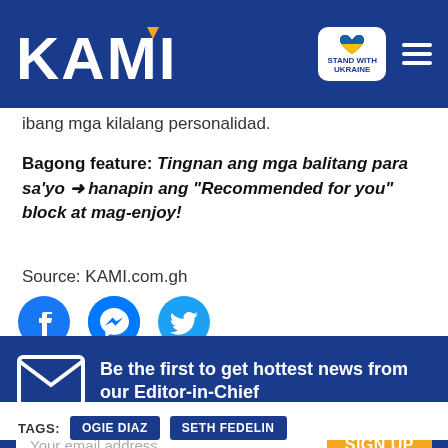KAMI — Stand with Ukraine
ibang mga kilalang personalidad.
Bagong feature: Tingnan ang mga balitang para sa'yo ➜ hanapin ang "Recommended for you" block at mag-enjoy!
Source: KAMI.com.gh
[Figure (illustration): Facebook, Messenger, and Twitter social share icon buttons]
Be the first to get hottest news from our Editor-in-Chief
Tags: OGIE DIAZ  SETH FEDELIN